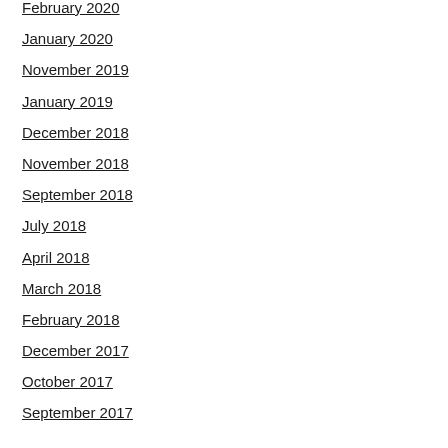February 2020
January 2020
November 2019
January 2019
December 2018
November 2018
September 2018
July 2018
April 2018
March 2018
February 2018
December 2017
October 2017
September 2017